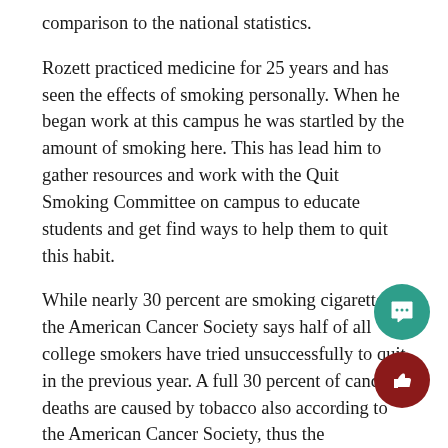comparison to the national statistics.
Rozett practiced medicine for 25 years and has seen the effects of smoking personally. When he began work at this campus he was startled by the amount of smoking here. This has lead him to gather resources and work with the Quit Smoking Committee on campus to educate students and get find ways to help them to quit this habit.
While nearly 30 percent are smoking cigarettes, the American Cancer Society says half of all college smokers have tried unsuccessfully to quit in the previous year. A full 30 percent of cancer deaths are caused by tobacco also according to the American Cancer Society, thus the importance in quitting. The American Cancer Society sa student's perception of peer smoking is higher then the actual percentage smoking.
An example of this is from a survey at the University of